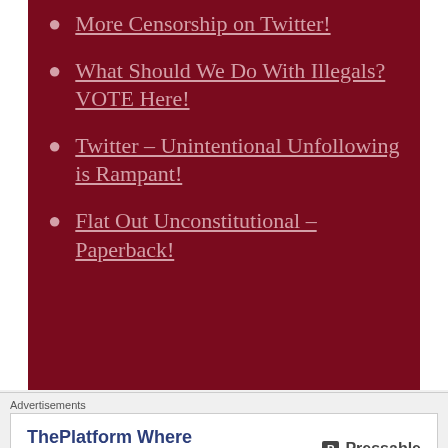More Censorship on Twitter!
What Should We Do With Illegals? VOTE Here!
Twitter – Unintentional Unfollowing is Rampant!
Flat Out Unconstitutional – Paperback!
Recent Comments
thunderboltstrikes on Welfare Deadbeats
Advertisements
ThePlatform Where WordPress Works Best
[Figure (logo): Pressable logo with 'P' icon]